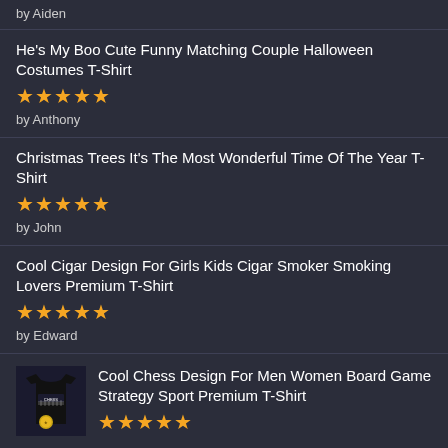by Aiden
He's My Boo Cute Funny Matching Couple Halloween Costumes T-Shirt
★★★★★
by Anthony
Christmas Trees It's The Most Wonderful Time Of The Year T-Shirt
★★★★★
by John
Cool Cigar Design For Girls Kids Cigar Smoker Smoking Lovers Premium T-Shirt
★★★★★
by Edward
[Figure (photo): Black t-shirt with chess design and gold badge]
Cool Chess Design For Men Women Board Game Strategy Sport Premium T-Shirt
★★★★★